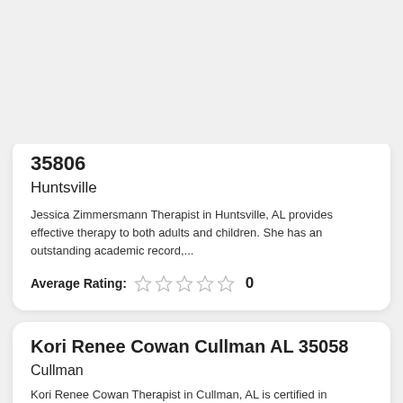[Figure (illustration): Gray placeholder profile image with mountain silhouette and sun/moon dot]
35806
Huntsville
Jessica Zimmersmann Therapist in Huntsville, AL provides effective therapy to both adults and children. She has an outstanding academic record,...
Average Rating: 0
Kori Renee Cowan Cullman AL 35058
Cullman
Kori Renee Cowan Therapist in Cullman, AL is certified in Marriage and Family Therapy and is certified in Forensic Psychology...